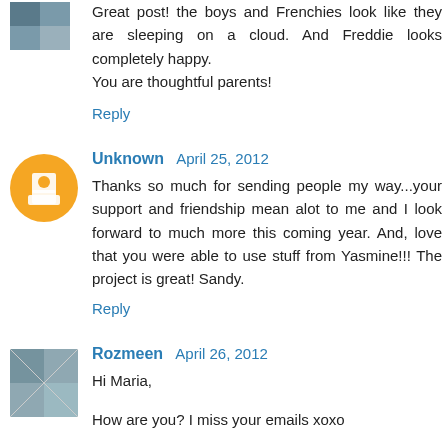Great post! the boys and Frenchies look like they are sleeping on a cloud. And Freddie looks completely happy.
You are thoughtful parents!
Reply
Unknown April 25, 2012
Thanks so much for sending people my way...your support and friendship mean alot to me and I look forward to much more this coming year. And, love that you were able to use stuff from Yasmine!!! The project is great! Sandy.
Reply
Rozmeen April 26, 2012
Hi Maria,
How are you? I miss your emails xoxo
Everything looks so beautiful and that bed so inviting! Cute